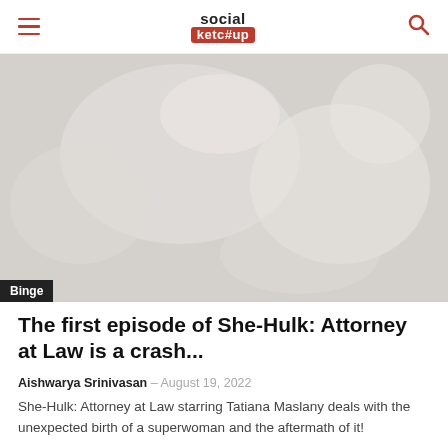social ketc#up
[Figure (photo): Faded/washed-out photo, possibly a crowd or party scene with light floral or blurred background. Binge tag overlaid at bottom left.]
The first episode of She-Hulk: Attorney at Law is a crash...
Aishwarya Srinivasan — August 19, 2022
She-Hulk: Attorney at Law starring Tatiana Maslany deals with the unexpected birth of a superwoman and the aftermath of it!
[Figure (photo): Small thumbnail image, faded/grey, related article image.]
10 times Chandler Bing helped us use humor as a defense...